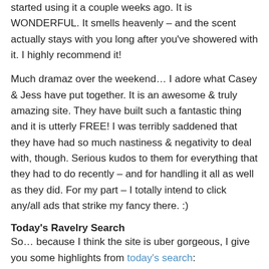started using it a couple weeks ago.  It is WONDERFUL.  It smells heavenly – and the scent actually stays with you long after you've showered with it.  I highly recommend it!
Much dramaz over the weekend…  I adore what Casey & Jess have put together.  It is an awesome & truly amazing site.  They have built such a fantastic thing and it is utterly FREE!  I was terribly saddened that they have had so much nastiness & negativity to deal with, though.  Serious kudos to them for everything that they had to do recently – and for handling it all as well as they did.  For my part – I totally intend to click any/all ads that strike my fancy there.  :)
Today's Ravelry Search
So…  because I think the site is uber gorgeous, I give you some highlights from today's search: